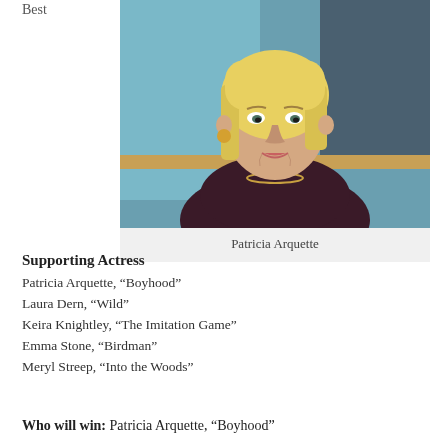Best
[Figure (photo): Photo of Patricia Arquette, a blonde woman wearing a dark top and jewelry, seated in front of a shelf with items in the background.]
Patricia Arquette
Supporting Actress
Patricia Arquette, “Boyhood”
Laura Dern, “Wild”
Keira Knightley, “The Imitation Game”
Emma Stone, “Birdman”
Meryl Streep, “Into the Woods”
Who will win: Patricia Arquette, “Boyhood”